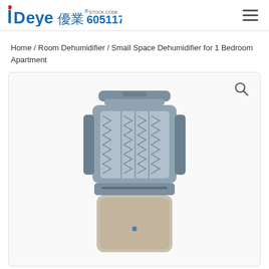Deye 優業® STOCK CODE 605117
Home / Room Dehumidifier / Small Space Dehumidifier for 1 Bedroom Apartment
[Figure (photo): A compact room dehumidifier product photo showing a grey/silver unit with a chevron-patterned front grille and a transparent water tank at the bottom, on a white background. A magnifying glass (search/zoom) icon appears in the upper right of the image area.]